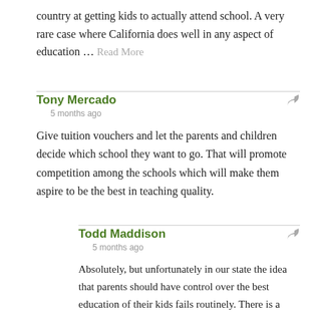country at getting kids to actually attend school. A very rare case where California does well in any aspect of education … Read More
Tony Mercado
5 months ago
Give tuition vouchers and let the parents and children decide which school they want to go. That will promote competition among the schools which will make them aspire to be the best in teaching quality.
Todd Maddison
5 months ago
Absolutely, but unfortunately in our state the idea that parents should have control over the best education of their kids fails routinely. There is a petition out right now to put an initiative on the ballot in November that would do that (the Educational Freedom Act) and it is struggling to obtain the needed signatures.